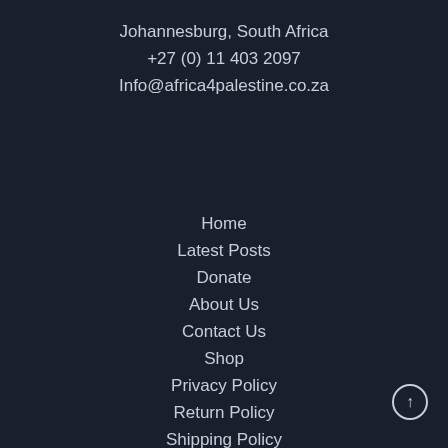Johannesburg, South Africa
+27 (0) 11 403 2097
Info@africa4palestine.co.za
Home
Latest Posts
Donate
About Us
Contact Us
Shop
Privacy Policy
Return Policy
Shipping Policy